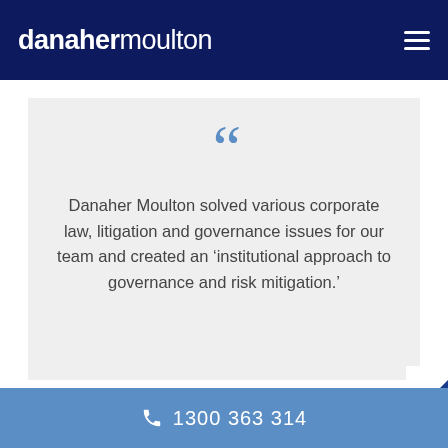danaher moulton
Danaher Moulton solved various corporate law, litigation and governance issues for our team and created an ‘institutional approach to governance and risk mitigation.’
1300 363 314